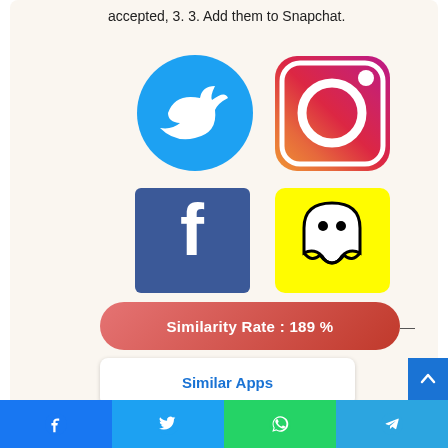accepted, 3. 3. Add them to Snapchat.
[Figure (illustration): Grid of four social media app icons: Twitter (blue bird on white circle), Instagram (gradient camera icon), Facebook (blue square with white 'f'), Snapchat (white ghost on yellow square)]
Similarity Rate : 189 % —
Similar Apps
17. SFriends: Find friends on Snapchat, Kik,
Facebook share | Twitter share | WhatsApp share | Telegram share